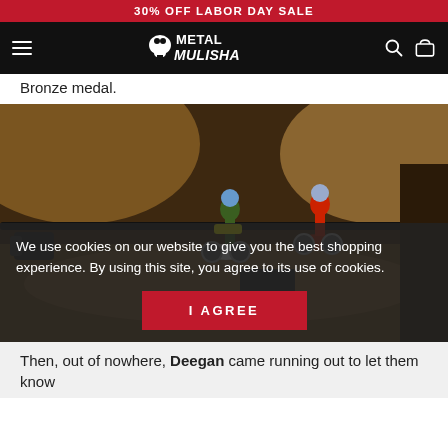30% OFF LABOR DAY SALE
[Figure (logo): Metal Mulisha logo with skull graphic on black navigation bar]
Bronze medal.
[Figure (photo): Two motocross riders on dirt bikes in an indoor dirt arena with mounds of dirt in background. A camera crane is visible on the left side.]
We use cookies on our website to give you the best shopping experience. By using this site, you agree to its use of cookies.
I AGREE
Then, out of nowhere, Deegan came running out to let them know